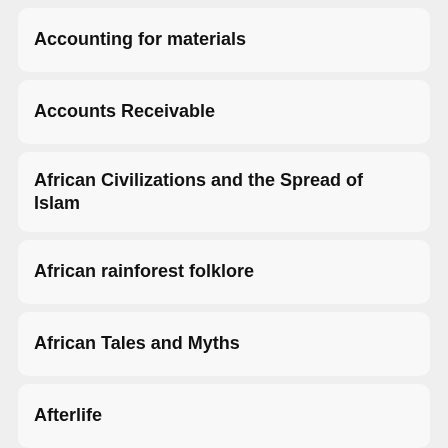Accounting for materials
Accounts Receivable
African Civilizations and the Spread of Islam
African rainforest folklore
African Tales and Myths
Afterlife
Agatha Christie